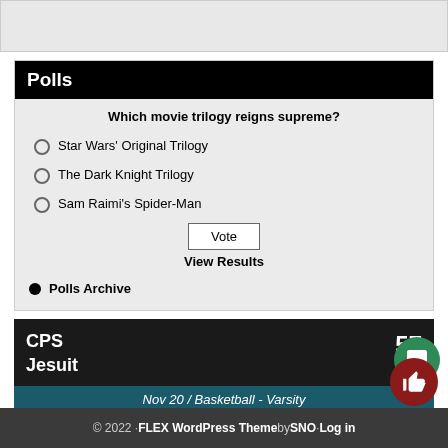[Figure (screenshot): Top gray bar remnant from page above]
Polls
Which movie trilogy reigns supreme?
Star Wars' Original Trilogy
The Dark Knight Trilogy
Sam Raimi's Spider-Man
Vote
View Results
Polls Archive
CPS  57
Jesuit
Nov 20 / Basketball - Varsity
© 2022 · FLEX WordPress Theme by SNO · Log in